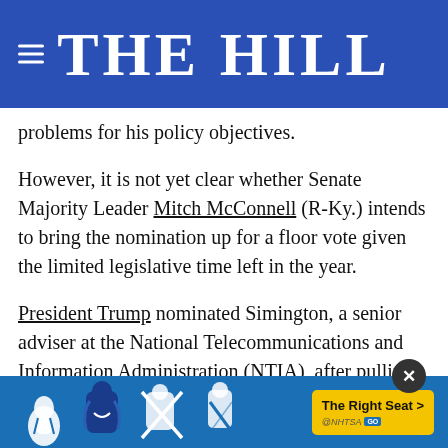THE HILL
problems for his policy objectives.
However, it is not yet clear whether Senate Majority Leader Mitch McConnell (R-Ky.) intends to bring the nomination up for a floor vote given the limited legislative time left in the year.
President Trump nominated Simington, a senior adviser at the National Telecommunications and Information Administration (NTIA), after pulling the renomination of Republican Commissioner Mike O'Rielly in August.
The abrupt decision to withdraw O'Rielly ca— shortly [Trump] ...nt Trump... of the
[Figure (infographic): Ad banner from NHTSA with car seat safety icons and 'The Right Seat >' call to action button in yellow, with close button (×)]